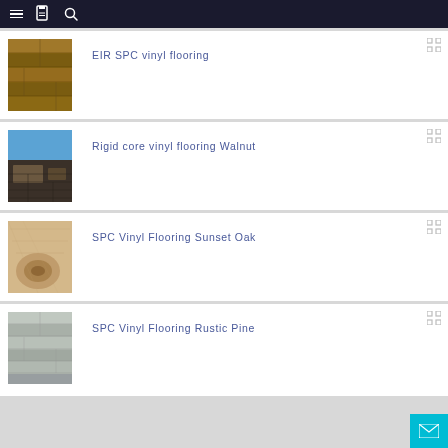Navigation bar with menu, catalog, and search icons
EIR SPC vinyl flooring
Rigid core vinyl flooring Walnut
SPC Vinyl Flooring Sunset Oak
SPC Vinyl Flooring Rustic Pine